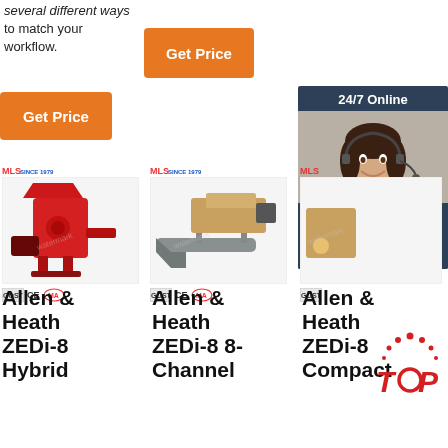several different ways to match your workflow.
[Figure (screenshot): Orange 'Get Price' button (top center)]
[Figure (screenshot): Orange 'Get Price' button (left)]
[Figure (infographic): 24/7 Online chat widget with customer service representative photo, 'Click here for free chat!' text, and orange QUOTATION button]
[Figure (photo): Red industrial machine (Allen & Heath ZEDi-8 Hybrid related product image) with MLS SINCE 1979 logo and certification badges]
[Figure (photo): Grey industrial conveyor/screw machine (Allen & Heath ZEDi-8 8-Channel related product image) with MLS SINCE 1979 logo and certification badges]
[Figure (photo): Third product image partially obscured by chat widget (Allen & Heath ZEDi-8 Compact related)]
Allen & Heath ZEDi-8 Hybrid
Allen & Heath ZEDi-8 8-Channel
Allen & Heath ZEDi-8 Compact